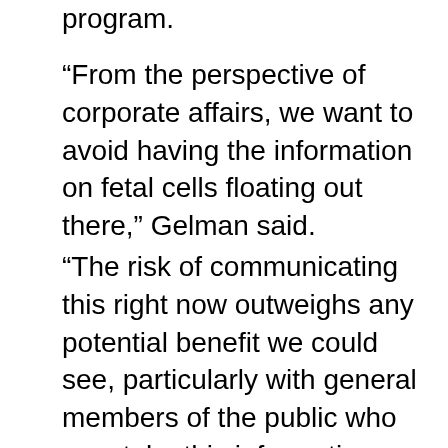program.
“From the perspective of corporate affairs, we want to avoid having the information on fetal cells floating out there,” Gelman said.
“The risk of communicating this right now outweighs any potential benefit we could see, particularly with general members of the public who may take this information and use it in ways we may not want out there. We have not received any questions from policy makers or